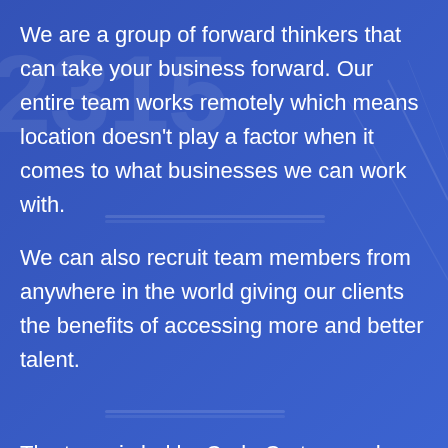We are a group of forward thinkers that can take your business forward. Our entire team works remotely which means location doesn't play a factor when it comes to what businesses we can work with.
We can also recruit team members from anywhere in the world giving our clients the benefits of accessing more and better talent.
The team is led by Carlo Cretaro and Florence Murphy, both of whom are from Boyle, Co...